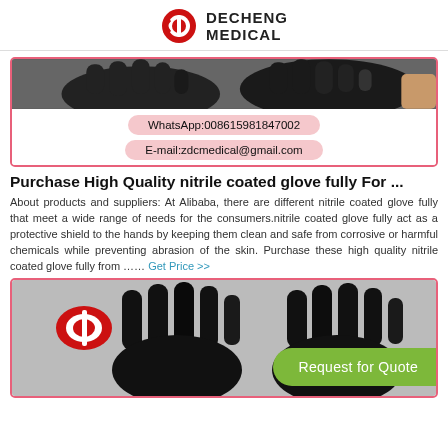DECHENG MEDICAL
[Figure (photo): Top portion of nitrile glove product card with pink border showing black gloves and contact information pills for WhatsApp:008615981847002 and E-mail:zdcmedical@gmail.com]
Purchase High Quality nitrile coated glove fully For ...
About products and suppliers: At Alibaba, there are different nitrile coated glove fully that meet a wide range of needs for the consumers.nitrile coated glove fully act as a protective shield to the hands by keeping them clean and safe from corrosive or harmful chemicals while preventing abrasion of the skin. Purchase these high quality nitrile coated glove fully from …… Get Price >>
[Figure (photo): Bottom product card with pink border showing two black nitrile gloves with fingers spread, small red Decheng Medical logo in top left, and green Request for Quote button in bottom right]